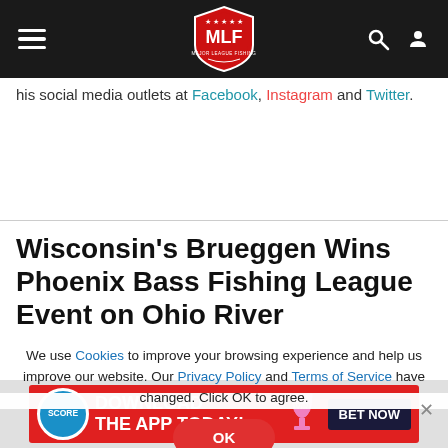MLF Major League Fishing navigation bar
his social media outlets at [Facebook], Instagram and Twitter.
Wisconsin's Brueggen Wins Phoenix Bass Fishing League Event on Ohio River
We use Cookies to improve your browsing experience and help us improve our website. Our Privacy Policy and Terms of Service have changed. Click OK to agree.
[Figure (screenshot): Red OK button for cookie consent]
[Figure (infographic): Advertisement banner: DOWNLOAD THE APP TODAY! BET NOW]